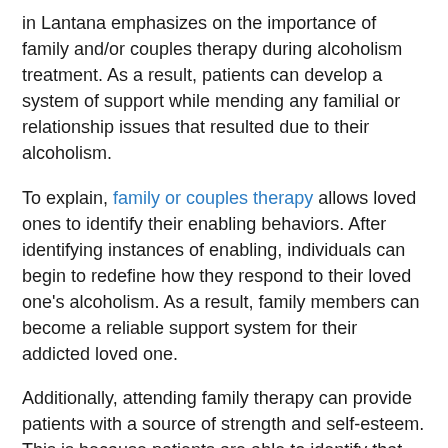in Lantana emphasizes on the importance of family and/or couples therapy during alcoholism treatment. As a result, patients can develop a system of support while mending any familial or relationship issues that resulted due to their alcoholism.
To explain, family or couples therapy allows loved ones to identify their enabling behaviors. After identifying instances of enabling, individuals can begin to redefine how they respond to their loved one's alcoholism. As a result, family members can become a reliable support system for their addicted loved one.
Additionally, attending family therapy can provide patients with a source of strength and self-esteem. This is because patients are able to identify that they are loved, supported, and believed in. As a result, patients receive the courage to make vital changes in behavior, allowing them to build a strong foundation of recovery to build upon.